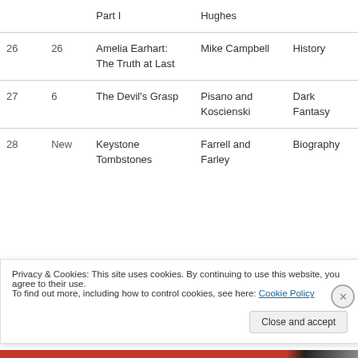| # | # | Title | Author | Genre |
| --- | --- | --- | --- | --- |
|  |  | Part I | Hughes |  |
| 26 | 26 | Amelia Earhart: The Truth at Last | Mike Campbell | History |
| 27 | 6 | The Devil's Grasp | Pisano and Koscienski | Dark Fantasy |
| 28 | New | Keystone Tombstones | Farrell and Farley | Biography |
Privacy & Cookies: This site uses cookies. By continuing to use this website, you agree to their use. To find out more, including how to control cookies, see here: Cookie Policy